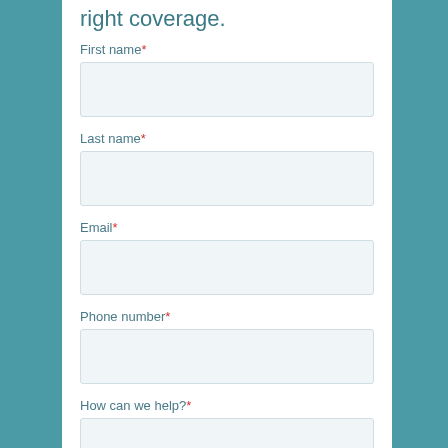right coverage.
First name*
Last name*
Email*
Phone number*
How can we help?*